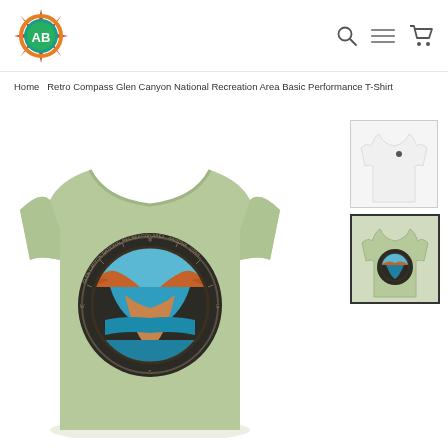[Figure (logo): AB Adventures logo: star/compass shape with teal circle, letters AB inside, orange border ring]
[Figure (other): Navigation icons: search magnifier, hamburger menu lines, shopping cart]
Home  Retro Compass Glen Canyon National Recreation Area Basic Performance T-Shirt
[Figure (photo): Main product photo: sage green t-shirt showing back view with large circular retro compass design featuring Horseshoe Bend canyon landscape]
[Figure (photo): Thumbnail 1: white t-shirt front view with small logo]
[Figure (photo): Thumbnail 2 (selected): sage green t-shirt back view with compass design, highlighted border]